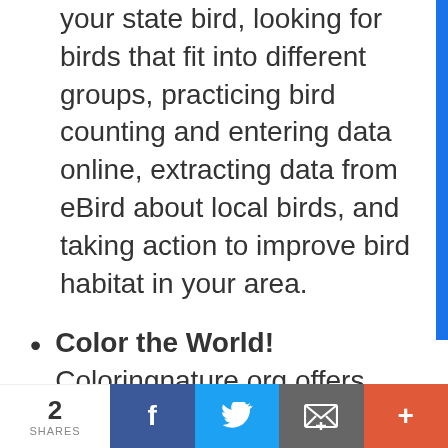your state bird, looking for birds that fit into different groups, practicing bird counting and entering data online, extracting data from eBird about local birds, and taking action to improve bird habitat in your area.
Color the World! Coloringnature.org offers more than 500 realistically illustrated coloring pages that can be downloaded and printed for use in PreK-8 classrooms. Choose from
2 SHARES | Facebook | Twitter | Email | More